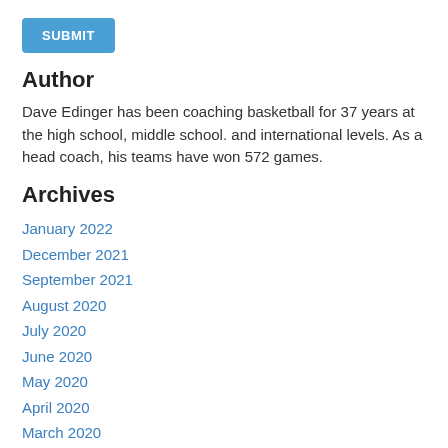[Figure (other): Blue SUBMIT button]
Author
Dave Edinger has been coaching basketball for 37 years at the high school, middle school. and international levels. As a head coach, his teams have won 572 games.
Archives
January 2022
December 2021
September 2021
August 2020
July 2020
June 2020
May 2020
April 2020
March 2020
February 2020